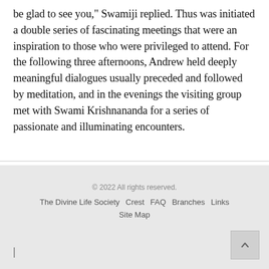be glad to see you," Swamiji replied. Thus was initiated a double series of fascinating meetings that were an inspiration to those who were privileged to attend. For the following three afternoons, Andrew held deeply meaningful dialogues usually preceded and followed by meditation, and in the evenings the visiting group met with Swami Krishnananda for a series of passionate and illuminating encounters.
© 2022 All rights reserved. The Divine Life Society  Crest  FAQ  Branches  Links  Site Map